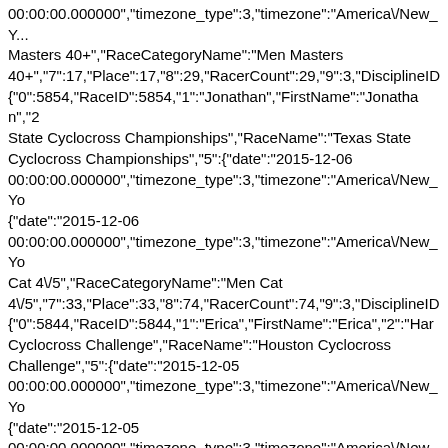00:00:00.000000","timezone_type":3,"timezone":"America\/New_Y... Masters 40+","RaceCategoryName":"Men Masters 40+","7":17,"Place":17,"8":29,"RacerCount":29,"9":3,"DisciplineID {"0":5854,"RaceID":5854,"1":"Jonathan","FirstName":"Jonathan","2 State Cyclocross Championships","RaceName":"Texas State Cyclocross Championships","5":{"date":"2015-12-06 00:00:00.000000","timezone_type":3,"timezone":"America\/New_Yo {"date":"2015-12-06 00:00:00.000000","timezone_type":3,"timezone":"America\/New_Yo Cat 4\/5","RaceCategoryName":"Men Cat 4\/5","7":33,"Place":33,"8":74,"RacerCount":74,"9":3,"DisciplineID {"0":5844,"RaceID":5844,"1":"Erica","FirstName":"Erica","2":"Har Cyclocross Challenge","RaceName":"Houston Cyclocross Challenge","5":{"date":"2015-12-05 00:00:00.000000","timezone_type":3,"timezone":"America\/New_Yo {"date":"2015-12-05 00:00:00.000000","timezone_type":3,"timezone":"America\/New_Yo Masters 40+ Cat 3\/4","RaceCategoryName":"Women Masters 40+ Cat 3\/4","7":4,"Place":4,"8":8,"RacerCount":8,"9":3,"DisciplineID":3," {"0":5730,"RaceID":5730,"1":"Jonathan","FirstName":"Jonathan","2 Johnny's Cross of Ages Day 2","RaceName":"Mellow Johnny's Cross of Ages Day 2","5":{"date":"2015-11-22 00:00:00.000000","timezone_type":3,"timezone":"America\/New_Yo {"date":"2015-11-22 00:00:00.000000","timezone_type":3,"timezone":"America\/New_Yo